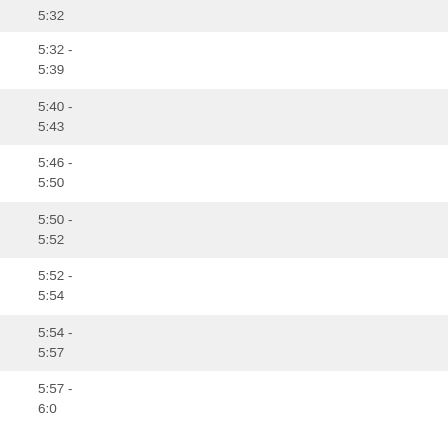5:32
5:32 -
5:39
5:40 -
5:43
5:46 -
5:50
5:50 -
5:52
5:52 -
5:54
5:54 -
5:57
5:57 -
6:00